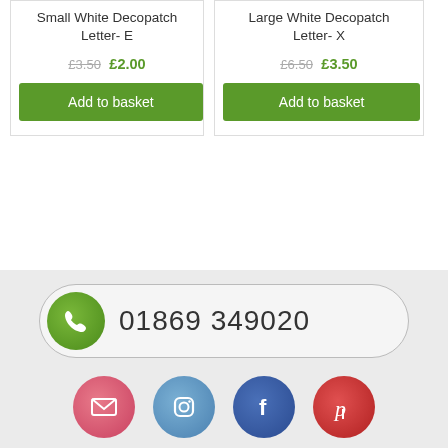Small White Decopatch Letter- E
£3.50  £2.00
Add to basket
Large White Decopatch Letter- X
£6.50  £3.50
Add to basket
01869 349020
[Figure (infographic): Social media icons row: email (pink), Instagram (blue), Facebook (dark blue), Pinterest (red)]